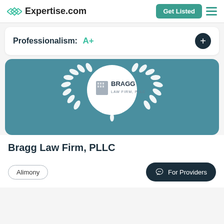Expertise.com — Get Listed
Professionalism: A+
[Figure (logo): Bragg Law Firm, PLLC logo centered in a white circle with white laurel wreath on teal background]
Bragg Law Firm, PLLC
Alimony
For Providers